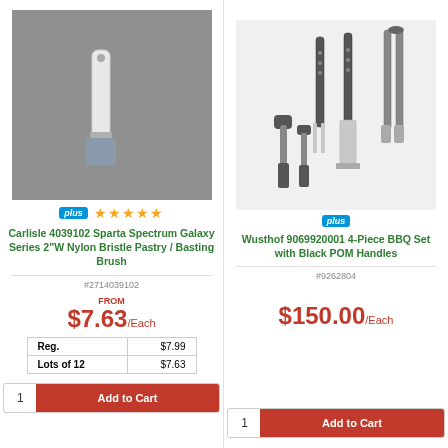[Figure (photo): Carlisle Sparta Spectrum Galaxy Series 2" W Nylon Bristle Pastry / Basting Brush on gray background]
plus ★★★★★
Carlisle 4039102 Sparta Spectrum Galaxy Series 2"W Nylon Bristle Pastry / Basting Brush
#2714039102
FROM
$7.63/Each
| Reg. | $7.99 |
| --- | --- |
| Lots of 12 | $7.63 |
1  Add to Cart
[Figure (photo): Wusthof 4-piece BBQ set with black POM handles including spatula, fork, tongs, and two brushes on white background]
plus
Wusthof 9069920001 4-Piece BBQ Set with Black POM Handles
#9262804
$150.00/Each
1  Add to Cart